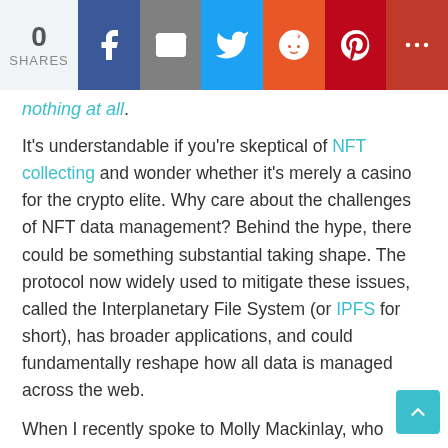0 SHARES [social share bar with Facebook, Mail, Twitter, Reddit, Pinterest, More buttons]
nothing at all.
It's understandable if you're skeptical of NFT collecting and wonder whether it's merely a casino for the crypto elite. Why care about the challenges of NFT data management? Behind the hype, there could be something substantial taking shape. The protocol now widely used to mitigate these issues, called the Interplanetary File System (or IPFS for short), has broader applications, and could fundamentally reshape how all data is managed across the web.
When I recently spoke to Molly Mackinlay, who leads product and engineering at Protocol Labs—a company overseeing the development of IPFS—she suggested the protocol may affect a range of significant sociopolitical systems. IPFS-enabled file preservation and data